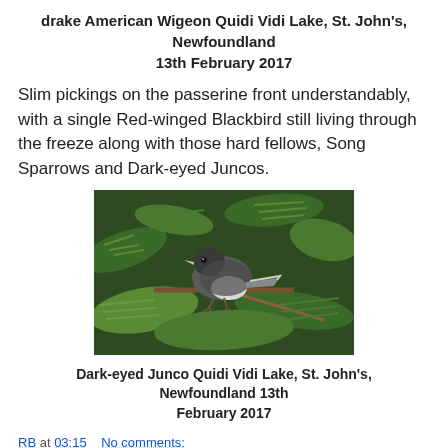drake American Wigeon Quidi Vidi Lake, St. John's, Newfoundland 13th February 2017
Slim pickings on the passerine front understandably, with a single Red-winged Blackbird still living through the freeze along with those hard fellows, Song Sparrows and Dark-eyed Juncos.
[Figure (photo): A Dark-eyed Junco bird perched on green conifer branches, grey body with white belly, small pale bill, photographed outdoors.]
Dark-eyed Junco Quidi Vidi Lake, St. John's, Newfoundland 13th February 2017
RB at 03:15    No comments:
Share